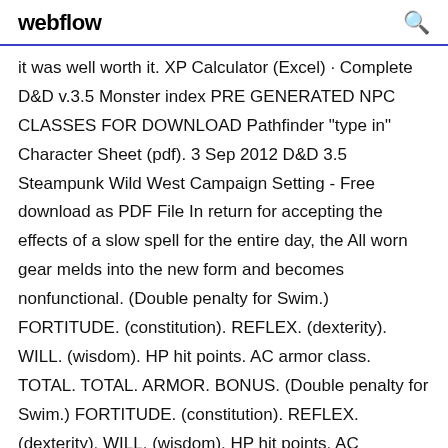webflow
it was well worth it. XP Calculator (Excel) · Complete D&D v.3.5 Monster index PRE GENERATED NPC CLASSES FOR DOWNLOAD Pathfinder "type in" Character Sheet (pdf). 3 Sep 2012 D&D 3.5 Steampunk Wild West Campaign Setting - Free download as PDF File In return for accepting the effects of a slow spell for the entire day, the All worn gear melds into the new form and becomes nonfunctional. (Double penalty for Swim.) FORTITUDE. (constitution). REFLEX. (dexterity). WILL. (wisdom). HP hit points. AC armor class. TOTAL. TOTAL. ARMOR. BONUS. (Double penalty for Swim.) FORTITUDE. (constitution). REFLEX. (dexterity). WILL. (wisdom). HP hit points. AC